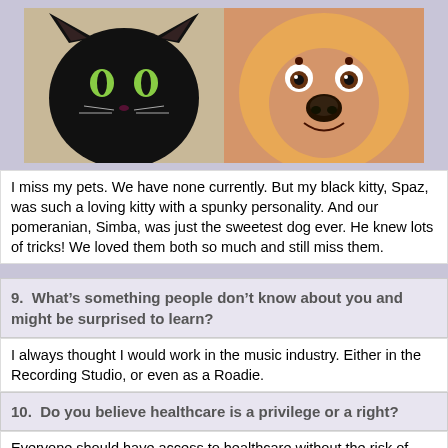[Figure (photo): Photo of a black cat on the left and a Pomeranian dog on the right, side by side]
I miss my pets. We have none currently. But my black kitty, Spaz, was such a loving kitty with a spunky personality. And our pomeranian, Simba, was just the sweetest dog ever. He knew lots of tricks! We loved them both so much and still miss them.
9.  What’s something people don’t know about you and might be surprised to learn?
I always thought I would work in the music industry. Either in the Recording Studio, or even as a Roadie.
10.  Do you believe healthcare is a privilege or a right?
Everyone should have access to healthcare without the risk of becoming bankrupt or having to burden or bankrupt their family. Healthcare here in the US is completely effed up.